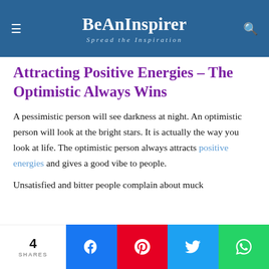BeAnInspirer – Spread the Inspiration
Attracting Positive Energies – The Optimistic Always Wins
A pessimistic person will see darkness at night. An optimistic person will look at the bright stars. It is actually the way you look at life. The optimistic person always attracts positive energies and gives a good vibe to people.
Unsatisfied and bitter people complain about muck
4 SHARES